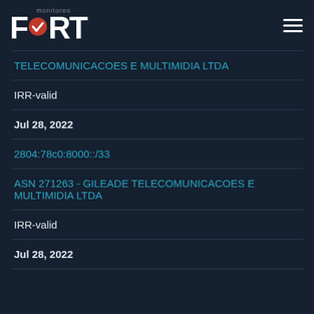[Figure (logo): Fort Monitoreo logo with checkmark icon and hamburger menu icon]
TELECOMUNICACOES E MULTIMIDIA LTDA
IRR-valid
Jul 28, 2022
2804:78c0:8000::/33
ASN 271263 - GILEADE TELECOMUNICACOES E MULTIMIDIA LTDA
IRR-valid
Jul 28, 2022